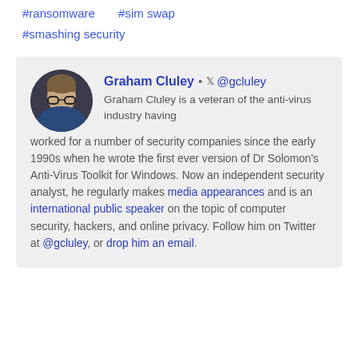#ransomware   #sim swap
#smashing security
Graham Cluley • @gcluley
Graham Cluley is a veteran of the anti-virus industry having worked for a number of security companies since the early 1990s when he wrote the first ever version of Dr Solomon's Anti-Virus Toolkit for Windows. Now an independent security analyst, he regularly makes media appearances and is an international public speaker on the topic of computer security, hackers, and online privacy. Follow him on Twitter at @gcluley, or drop him an email.